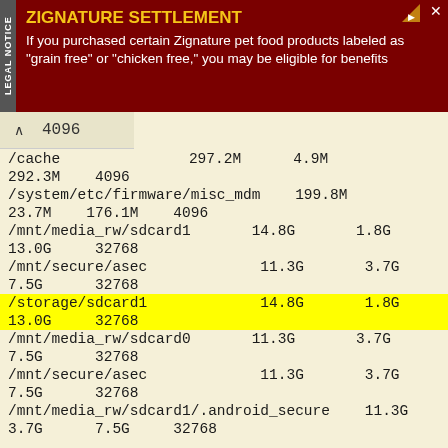[Figure (infographic): Advertisement banner for Zignature Settlement legal notice with dark red background, yellow title text and white body text]
4096
| Path | Total | Used/Free | Extra |
| --- | --- | --- | --- |
| /cache | 297.2M | 4.9M |  |
| 292.3M | 4096 |  |  |
| /system/etc/firmware/misc_mdm | 199.8M |  |  |
| 23.7M | 176.1M | 4096 |  |
| /mnt/media_rw/sdcard1 | 14.8G | 1.8G |  |
| 13.0G | 32768 |  |  |
| /mnt/secure/asec | 11.3G | 3.7G |  |
| 7.5G | 32768 |  |  |
| /storage/sdcard1 [highlighted] | 14.8G | 1.8G |  |
| 13.0G  32768 [highlighted] |  |  |  |
| /mnt/media_rw/sdcard0 | 11.3G | 3.7G |  |
| 7.5G | 32768 |  |  |
| /mnt/secure/asec | 11.3G | 3.7G |  |
| 7.5G | 32768 |  |  |
| /mnt/media_rw/sdcard1/.android_secure | 11.3G |  |  |
| 3.7G | 7.5G | 32768 |  |